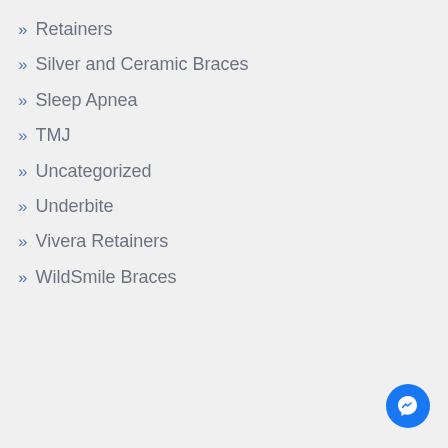» Retainers
» Silver and Ceramic Braces
» Sleep Apnea
» TMJ
» Uncategorized
» Underbite
» Vivera Retainers
» WildSmile Braces